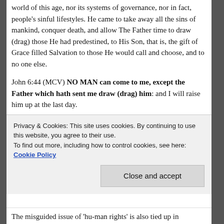world of this age, nor its systems of governance, nor in fact, people's sinful lifestyles. He came to take away all the sins of mankind, conquer death, and allow The Father time to draw (drag) those He had predestined, to His Son, that is, the gift of Grace filled Salvation to those He would call and choose, and to no one else.
John 6:44 (MCV) NO MAN can come to me, except the Father which hath sent me draw (drag) him: and I will raise him up at the last day.
John 6:65 (MCV) And He said, Therefore said I unto you, That NO MAN can come unto me, except it were given unto him of my Father.
Privacy & Cookies: This site uses cookies. By continuing to use this website, you agree to their use.
To find out more, including how to control cookies, see here: Cookie Policy
Close and accept
The misguided issue of 'hu-man rights' is also tied up in